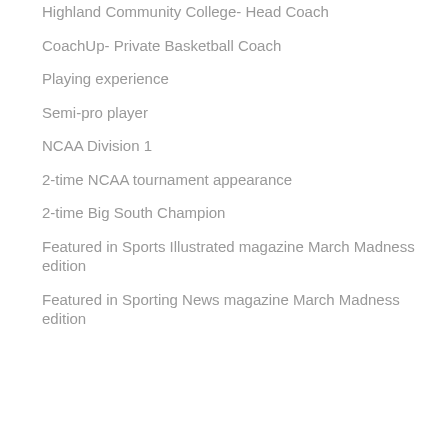Highland Community College- Head Coach
CoachUp- Private Basketball Coach
Playing experience
Semi-pro player
NCAA Division 1
2-time NCAA tournament appearance
2-time Big South Champion
Featured in Sports Illustrated magazine March Madness edition
Featured in Sporting News magazine March Madness edition